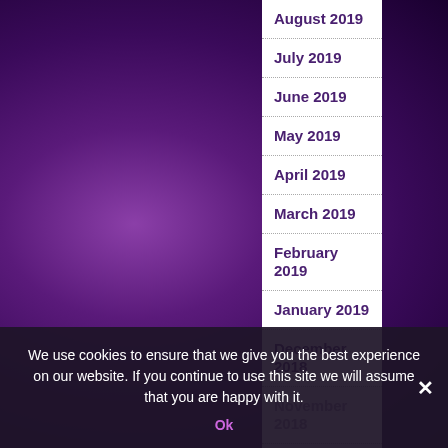August 2019
July 2019
June 2019
May 2019
April 2019
March 2019
February 2019
January 2019
December 2018
November 2018
October 2018
September 2018
August
We use cookies to ensure that we give you the best experience on our website. If you continue to use this site we will assume that you are happy with it.